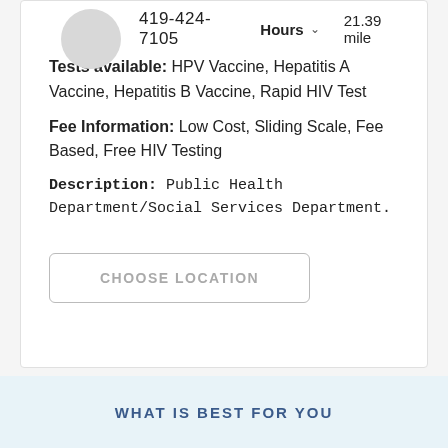419-424-7105
Hours  21.39 mile
Tests available: HPV Vaccine, Hepatitis A Vaccine, Hepatitis B Vaccine, Rapid HIV Test
Fee Information: Low Cost, Sliding Scale, Fee Based, Free HIV Testing
Description: Public Health Department/Social Services Department.
CHOOSE LOCATION
WHAT IS BEST FOR YOU